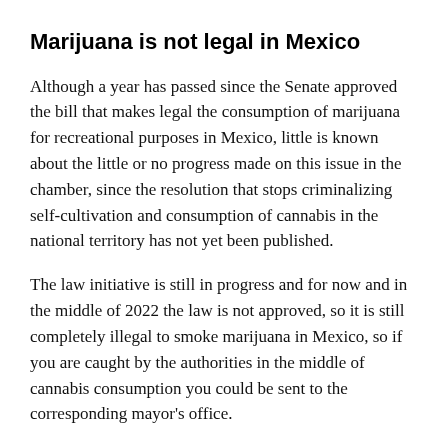Marijuana is not legal in Mexico
Although a year has passed since the Senate approved the bill that makes legal the consumption of marijuana for recreational purposes in Mexico, little is known about the little or no progress made on this issue in the chamber, since the resolution that stops criminalizing self-cultivation and consumption of cannabis in the national territory has not yet been published.
The law initiative is still in progress and for now and in the middle of 2022 the law is not approved, so it is still completely illegal to smoke marijuana in Mexico, so if you are caught by the authorities in the middle of cannabis consumption you could be sent to the corresponding mayor's office.